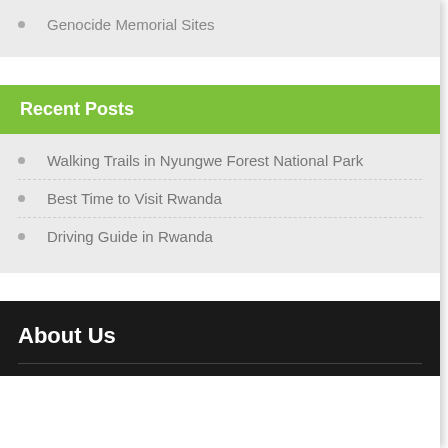Genocide Memorial Sites
Recent Posts
Walking Trails in Nyungwe Forest National Park
Best Time to Visit Rwanda
Driving Guide in Rwanda
About Us